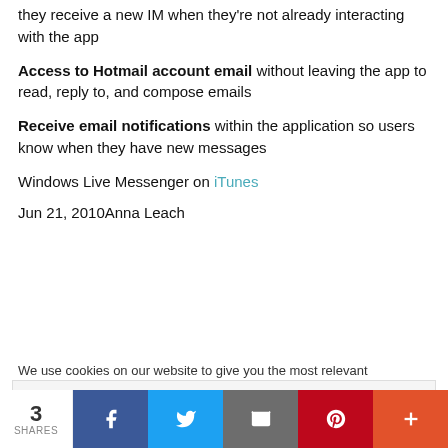they receive a new IM when they're not already interacting with the app
Access to Hotmail account email without leaving the app to read, reply to, and compose emails
Receive email notifications within the application so users know when they have new messages
Windows Live Messenger on iTunes
Jun 21, 2010Anna Leach
We use cookies on our website to give you the most relevant
Privacy & Cookies: This site uses cookies. By continuing to use this website, you agree to their use. To find out more, including how to control cookies, see here: Cookie Policy
3 SHARES | Facebook | Twitter | Email | Pinterest | More